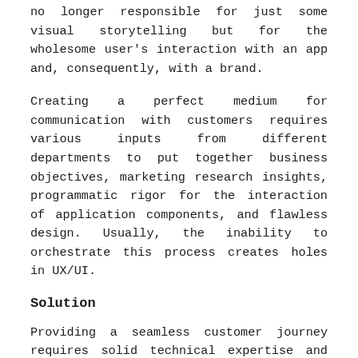no longer responsible for just some visual storytelling but for the wholesome user's interaction with an app and, consequently, with a brand.
Creating a perfect medium for communication with customers requires various inputs from different departments to put together business objectives, marketing research insights, programmatic rigor for the interaction of application components, and flawless design. Usually, the inability to orchestrate this process creates holes in UX/UI.
Solution
Providing a seamless customer journey requires solid technical expertise and talent coupled with a close building a proper communication and collaboration between specialists involved in the project and the customer. As with many problems, the solution to the challenge of a complex UX/UI development process lies in technical competence, collaboration, and knowing your future app